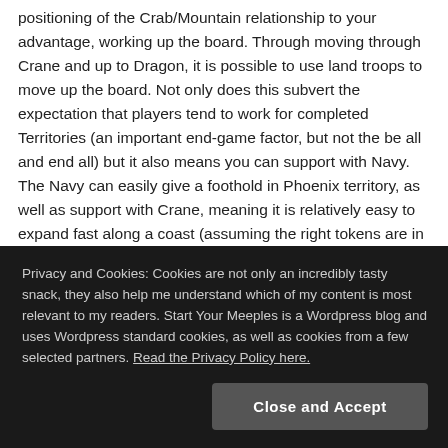positioning of the Crab/Mountain relationship to your advantage, working up the board. Through moving through Crane and up to Dragon, it is possible to use land troops to move up the board. Not only does this subvert the expectation that players tend to work for completed Territories (an important end-game factor, but not the be all and end all) but it also means you can support with Navy. The Navy can easily give a foothold in Phoenix territory, as well as support with Crane, meaning it is relatively easy to expand fast along a coast (assuming the right tokens are in your hand).
By expanding fast, it means your next turn can be focused on
Privacy and Cookies: Cookies are not only an incredibly tasty snack, they also help me understand which of my content is most relevant to my readers. Start Your Meeples is a Wordpress blog and uses Wordpress standard cookies, as well as cookies from a few selected partners. Read the Privacy Policy here.